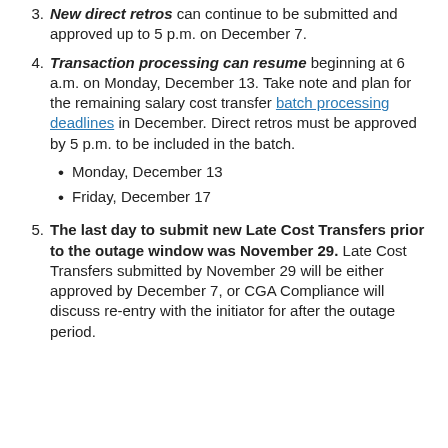3. New direct retros can continue to be submitted and approved up to 5 p.m. on December 7.
4. Transaction processing can resume beginning at 6 a.m. on Monday, December 13. Take note and plan for the remaining salary cost transfer batch processing deadlines in December. Direct retros must be approved by 5 p.m. to be included in the batch.
• Monday, December 13
• Friday, December 17
5. The last day to submit new Late Cost Transfers prior to the outage window was November 29. Late Cost Transfers submitted by November 29 will be either approved by December 7, or CGA Compliance will discuss re-entry with the initiator for after the outage period.